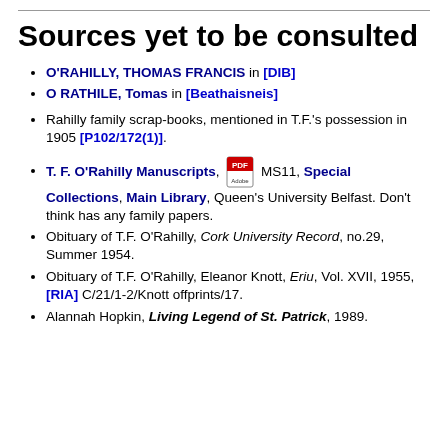Sources yet to be consulted
O'RAHILLY, THOMAS FRANCIS in [DIB]
O RATHILE, Tomas in [Beathaisneis]
Rahilly family scrap-books, mentioned in T.F.'s possession in 1905 [P102/172(1)].
T. F. O'Rahilly Manuscripts, [PDF icon] MS11, Special Collections, Main Library, Queen's University Belfast. Don't think has any family papers.
Obituary of T.F. O'Rahilly, Cork University Record, no.29, Summer 1954.
Obituary of T.F. O'Rahilly, Eleanor Knott, Eriu, Vol. XVII, 1955, [RIA] C/21/1-2/Knott offprints/17.
Alannah Hopkin, Living Legend of St. Patrick, 1989.